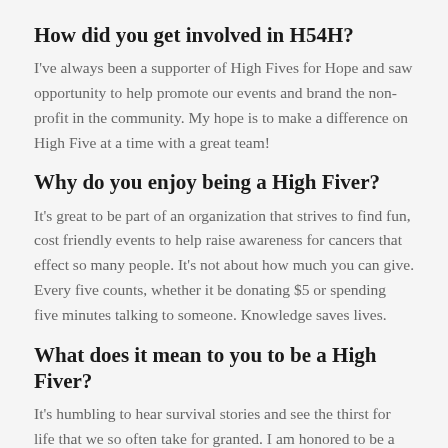How did you get involved in H54H?
I've always been a supporter of High Fives for Hope and saw opportunity to help promote our events and brand the non-profit in the community. My hope is to make a difference on High Five at a time with a great team!
Why do you enjoy being a High Fiver?
It's great to be part of an organization that strives to find fun, cost friendly events to help raise awareness for cancers that effect so many people. It's not about how much you can give. Every five counts, whether it be donating $5 or spending five minutes talking to someone. Knowledge saves lives.
What does it mean to you to be a High Fiver?
It's humbling to hear survival stories and see the thirst for life that we so often take for granted. I am honored to be a part of a team